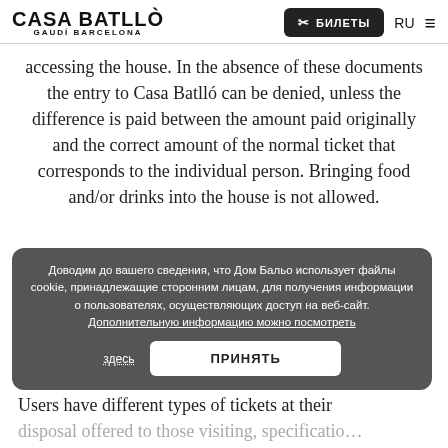CASA BATLLÓ GAUDÍ BARCELONA | БИЛЕТЫ | RU
accessing the house. In the absence of these documents the entry to Casa Batlló can be denied, unless the difference is paid between the amount paid originally and the correct amount of the normal ticket that corresponds to the individual person. Bringing food and/or drinks into the house is not allowed.
Доводим до вашего сведения, что Дом Бальо использует файлы cookie, принадлежащие сторонним лицам, для получения информации о пользователях, осуществляющих доступ на веб-сайт. Дополнительную информацию можно посмотреть здесь. ПРИНЯТЬ
The … hose characteristics … reported in …
Users have different types of tickets at their disposal offered to those visiting, specifications…